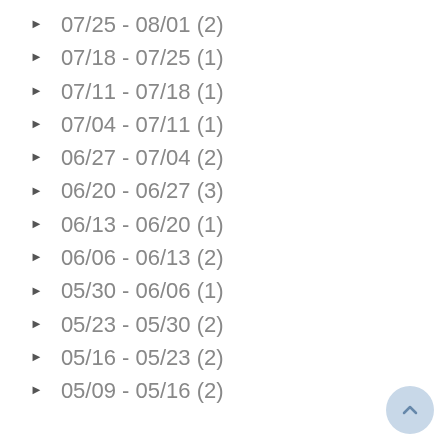► 07/25 - 08/01 (2)
► 07/18 - 07/25 (1)
► 07/11 - 07/18 (1)
► 07/04 - 07/11 (1)
► 06/27 - 07/04 (2)
► 06/20 - 06/27 (3)
► 06/13 - 06/20 (1)
► 06/06 - 06/13 (2)
► 05/30 - 06/06 (1)
► 05/23 - 05/30 (2)
► 05/16 - 05/23 (2)
► 05/09 - 05/16 (2)